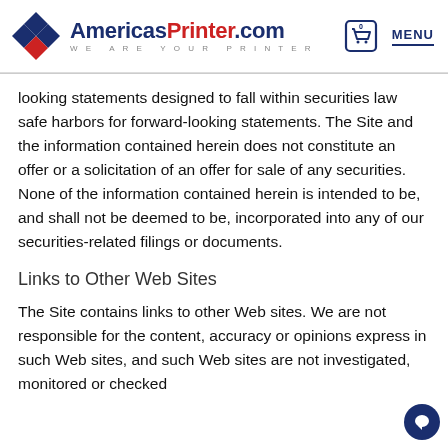[Figure (logo): AmericasPrinter.com logo with diamond icon and tagline WE ARE YOUR PRINTER, plus shopping cart and MENU button]
looking statements designed to fall within securities law safe harbors for forward-looking statements. The Site and the information contained herein does not constitute an offer or a solicitation of an offer for sale of any securities. None of the information contained herein is intended to be, and shall not be deemed to be, incorporated into any of our securities-related filings or documents.
Links to Other Web Sites
The Site contains links to other Web sites. We are not responsible for the content, accuracy or opinions express in such Web sites, and such Web sites are not investigated, monitored or checked